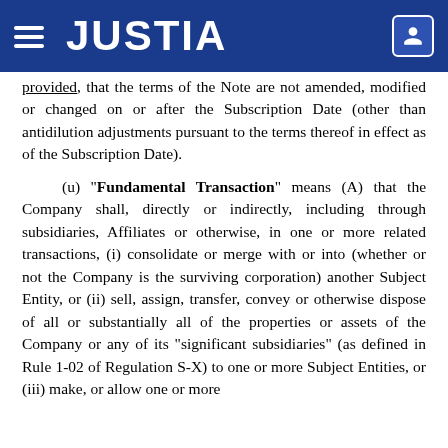JUSTIA
provided, that the terms of the Note are not amended, modified or changed on or after the Subscription Date (other than antidilution adjustments pursuant to the terms thereof in effect as of the Subscription Date).
(u) "Fundamental Transaction" means (A) that the Company shall, directly or indirectly, including through subsidiaries, Affiliates or otherwise, in one or more related transactions, (i) consolidate or merge with or into (whether or not the Company is the surviving corporation) another Subject Entity, or (ii) sell, assign, transfer, convey or otherwise dispose of all or substantially all of the properties or assets of the Company or any of its "significant subsidiaries" (as defined in Rule 1-02 of Regulation S-X) to one or more Subject Entities, or (iii) make, or allow one or more